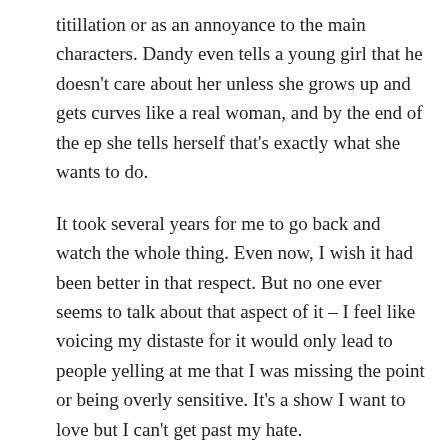titillation or as an annoyance to the main characters. Dandy even tells a young girl that he doesn't care about her unless she grows up and gets curves like a real woman, and by the end of the ep she tells herself that's exactly what she wants to do.
It took several years for me to go back and watch the whole thing. Even now, I wish it had been better in that respect. But no one ever seems to talk about that aspect of it – I feel like voicing my distaste for it would only lead to people yelling at me that I was missing the point or being overly sensitive. It's a show I want to love but I can't get past my hate.